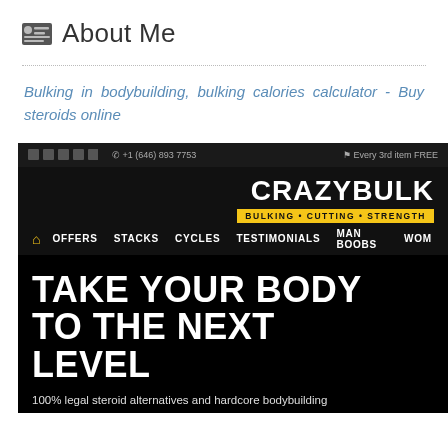About Me
Bulking in bodybuilding, bulking calories calculator - Buy steroids online
[Figure (screenshot): Screenshot of the CrazyBulk website showing the top navigation bar with social icons and phone number, the CRAZYBULK logo with BULKING • CUTTING • STRENGTH tagline in yellow, navigation menu with OFFERS, STACKS, CYCLES, TESTIMONIALS, MAN BOOBS, WOM... links, and a hero section with bold text 'TAKE YOUR BODY TO THE NEXT LEVEL' and subtitle '100% legal steroid alternatives and hardcore bodybuilding supplements for bulking, cutting and strength', with a bodybuilder image on the right side.]